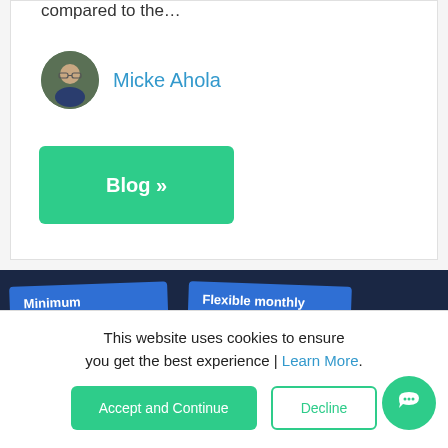compared to the…
Micke Ahola
[Figure (photo): Circular avatar photo of a man with glasses wearing a dark shirt]
[Figure (other): Green button labeled 'Blog »']
[Figure (other): Dark navy blue promotional banner with two blue tilted cards. Left card: 'Minimum 12 month term', Right card: 'Flexible monthly billing – no terms']
This website uses cookies to ensure you get the best experience | Learn More.
[Figure (other): Green 'Accept and Continue' button and outlined 'Decline' button, plus a green chat bubble icon button]